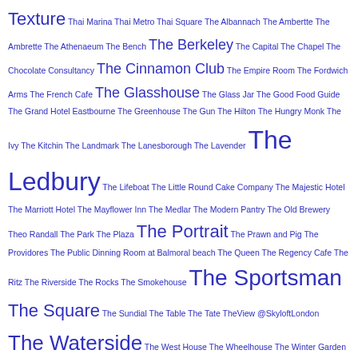Texture Thai Marina Thai Metro Thai Square The Albannach The Ambertte The Ambrette The Athenaeum The Bench The Berkeley The Capital The Chapel The Chocolate Consultancy The Cinnamon Club The Empire Room The Fordwich Arms The French Cafe The Glasshouse The Glass Jar The Good Food Guide The Grand Hotel Eastbourne The Greenhouse The Gun The Hilton The Hungry Monk The Ivy The Kitchin The Landmark The Lanesborough The Lavender The Ledbury The Lifeboat The Little Round Cake Company The Majestic Hotel The Marriott Hotel The Mayflower Inn The Medlar The Modern Pantry The Old Brewery Theo Randall The Park The Plaza The Portrait The Prawn and Pig The Providores The Public Dinning Room at Balmoral beach The Queen The Regency Cafe The Ritz The Riverside The Rocks The Smokehouse The Sportsman The Square The Sundial The Table The Tate TheView @SkyloftLondon The Waterside The West House The Wheelhouse The Winter Garden The Wolseley The Zetter